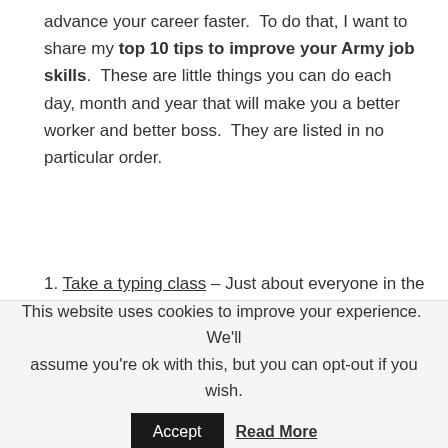advance your career faster. To do that, I want to share my top 10 tips to improve your Army job skills. These are little things you can do each day, month and year that will make you a better worker and better boss. They are listed in no particular order.
1. Take a typing class – Just about everyone in the Army has a responsibility to prepare correspondence at some point or another. If you can't type at least 60 words per minute, you should take a class on how to type. This will be time well invested, especially if you type with one or two fingers at a time. Learning to type fast will free up some of your time to do other more important things.
2. Join an Association – Most serious professionals belong to
This website uses cookies to improve your experience. We'll assume you're ok with this, but you can opt-out if you wish. Accept Read More